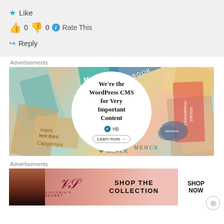★ Like
👍 0 👎 0 ℹ Rate This
↪ Reply
Advertisements
[Figure (illustration): WordPress VIP advertisement showing colorful brand cards/books in background with circular white badge in center reading: We're the WordPress CMS for Very Important Content, with WordPress VIP logo and Learn more → button]
Advertisements
[Figure (illustration): Victoria's Secret advertisement banner with model on left, VS logo in center, text SHOP THE COLLECTION, and white SHOP NOW button on right, pink/rose gradient background]